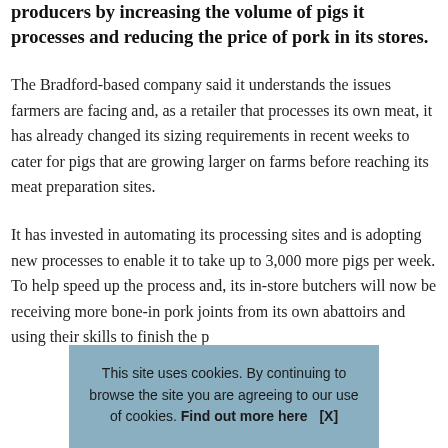producers by increasing the volume of pigs it processes and reducing the price of pork in its stores.
The Bradford-based company said it understands the issues farmers are facing and, as a retailer that processes its own meat, it has already changed its sizing requirements in recent weeks to cater for pigs that are growing larger on farms before reaching its meat preparation sites.
It has invested in automating its processing sites and is adopting new processes to enable it to take up to 3,000 more pigs per week. To help speed up the process and, its in-store butchers will now be receiving more bone-in pork joints from its own abattoirs and using their skills to finish the p...
This site uses cookies. By continuing to browse the site you are agreeing to our use of cookies. Find out more here    [X]